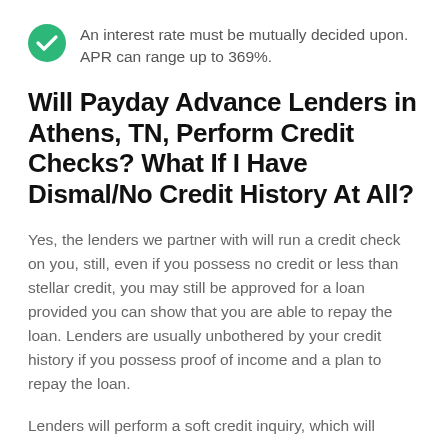An interest rate must be mutually decided upon. APR can range up to 369%.
Will Payday Advance Lenders in Athens, TN, Perform Credit Checks? What If I Have Dismal/No Credit History At All?
Yes, the lenders we partner with will run a credit check on you, still, even if you possess no credit or less than stellar credit, you may still be approved for a loan provided you can show that you are able to repay the loan. Lenders are usually unbothered by your credit history if you possess proof of income and a plan to repay the loan.
Lenders will perform a soft credit inquiry, which will